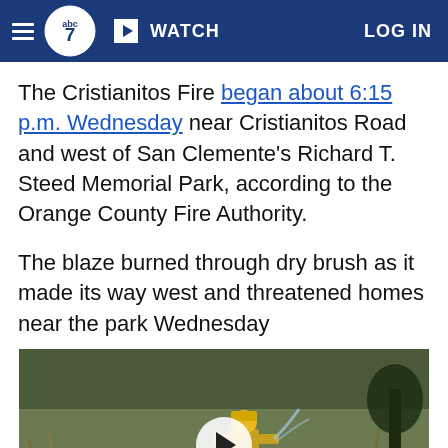ABC7 | WATCH | LOG IN
The Cristianitos Fire began about 6:15 p.m. Wednesday near Cristianitos Road and west of San Clemente's Richard T. Steed Memorial Park, according to the Orange County Fire Authority.
The blaze burned through dry brush as it made its way west and threatened homes near the park Wednesday
[Figure (photo): Video thumbnail showing a firefighter in yellow gear holding a hose, with dry brush in the background. A white play button circle is overlaid in the center.]